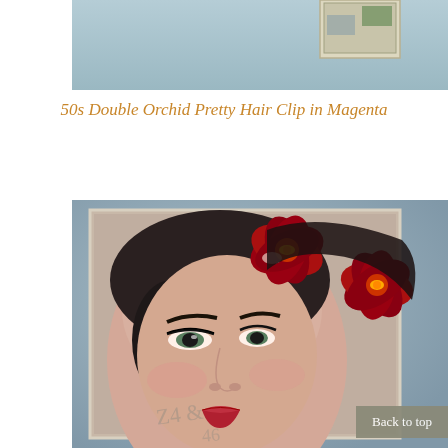[Figure (photo): Top portion of a product photo showing a light blue background with what appears to be a corner of a photo/stamp visible at the top right]
50s Double Orchid Pretty Hair Clip in Magenta
[Figure (photo): Photo of a woman with vintage 1950s makeup and styling, wearing a large double red/magenta orchid hair clip. The photo appears to be displayed on top of a vintage-style posed portrait photograph. The orchid clip is prominently featured on the right side of her hair.]